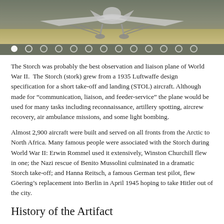[Figure (photo): Aerial photograph of a Fieseler Storch aircraft viewed from below/front, showing undercarriage and wing struts, with grass/field in background. Carousel navigation dots visible at bottom of image.]
The Storch was probably the best observation and liaison plane of World War II. The Storch (stork) grew from a 1935 Luftwaffe design specification for a short take-off and landing (STOL) aircraft. Although made for “communication, liaison, and feeder-service” the plane would be used for many tasks including reconnaissance, artillery spotting, aircrew recovery, air ambulance missions, and some light bombing.
Almost 2,900 aircraft were built and served on all fronts from the Arctic to North Africa. Many famous people were associated with the Storch during World War II: Erwin Rommel used it extensively, Winston Churchill flew in one; the Nazi rescue of Benito Mussolini culminated in a dramatic Storch take-off; and Hanna Reitsch, a famous German test pilot, flew Göering’s replacement into Berlin in April 1945 hoping to take Hitler out of the city.
History of the Artifact